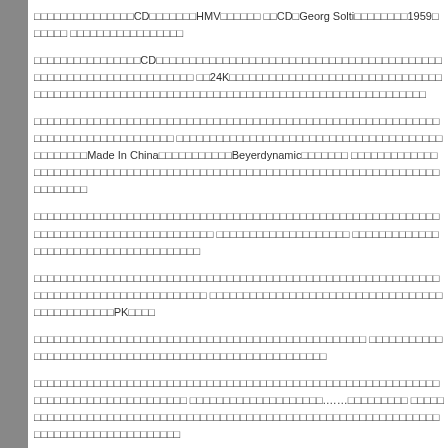□□□□□□□□□□□□□□□CD□□□□□□□HMV□□□□□□ □□CD□Georg Solti□□□□□□□1959□□□□□□ □□□□□□□□□□□□□□□□□
□□□□□□□□□□□□□□□□CD□□□□□□□□□□□□□□□□□□□□□□□□□□□□□□□□□□□□□□□□□□□□□□□□□□□□□□□□□□ □□24K□□□□□□□□□□□□□□□□□□□□□□□□□□□□□□□□ □□□□□□□□□□□□□□□□□□□□□□□□□□□□□□□□□□□□□□□□□□□□□□□
□□□□□□□□□□□□□□□□□□□□□□□□□□□□□□□□□□□□□□□□□□□□□□□□□□□□□□□□□□□□□□□□□□□□□□□□□□□□□□□ □□□□□□□□□□□□□□□□□□□□□□□□□□□□□□□□□□□□□□□□□□□□□□□□Made In China□□□□□□□□□□□Beyerdynamic□□□□□□□ □□□□□□□□□□□□□□□□□□□□□□□□□□□□□□□□□□□□□□□□□□□□□□□□□□□□□□□□□□□□□□□
□□□□□□□□□□□□□□□□□□□□□□□□□□□□□□□□□□□□□□□□□□□□□□□□□□□□□□□□□□□□□□□□□□□□□□□□□□□□□□□□□□□□□□□ □□□□□□□□□□□□□□□□□□□ □□□□□□□□□□□□□□□□□□□□□□□□□□□□□□□□□□□□□□
□□□□□□□□□□□□□□□□□□□□□□□□□□□□□□□□□□□□□□□□□□□□□□□□□□□□□□□□□□□□□□□□□□□□□□□□□□□□□□□ □□□□□□□□□□□□□□□□□□□□□□□□□□□□□□□□□□□□□□□□□□□□□□□□□□□□PK□□□
□□□□□□□□□□□□□□□□□□□□□□□□□□□□□□□□□□□□□□□□□□□□□□□□□ □□□□□□□□□□□□□□□□□□□□□□□□□□□□□□□□□□□□□□□□□□□□□□□□□□□□□□□□
□□□□□□□□□□□□□□□□□□□□□□□□□□□□□□□□□□□□□□□□□□□□□□□□□□□□□□□□□□□□□□□□□□□□□□□□□□□□□□ □□□□□□□□□□□□□□□□□□□□.……□□□□□□□□□ □□□□□□□□□□□□□□□□□□□□□□□□□□□□□□□□□□□□□□□□□□□□□□□□□□□□□□□□□□□□□□□□□□□□□□□□□□□□□□□□
Update: Sep 21, 2012
□□□□□□□□□□□□□□□□□□□□□□□□□□□□□□□3□□□□□□□□□□□□□□□□□□□□□□□□□